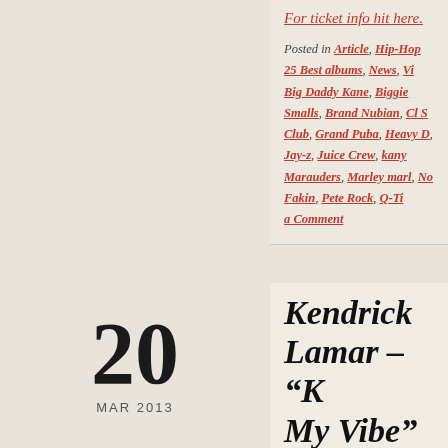For ticket info hit here.
Posted in Article, Hip-Hop 25 Best albums, News, Vi... Big Daddy Kane, Biggie Smalls, Brand Nubian, Cl S... Club, Grand Puba, Heavy D, Jay-z, Juice Crew, kany... Marauders, Marley marl, No Fakin, Pete Rock, Q-Ti... a Comment
20
MAR 2013
Kendrick Lamar – "K... My Vibe" Remix (fea...